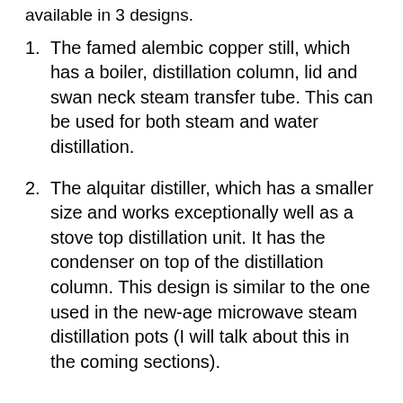available in 3 designs.
The famed alembic copper still, which has a boiler, distillation column, lid and swan neck steam transfer tube. This can be used for both steam and water distillation.
The alquitar distiller, which has a smaller size and works exceptionally well as a stove top distillation unit. It has the condenser on top of the distillation column. This design is similar to the one used in the new-age microwave steam distillation pots (I will talk about this in the coming sections).